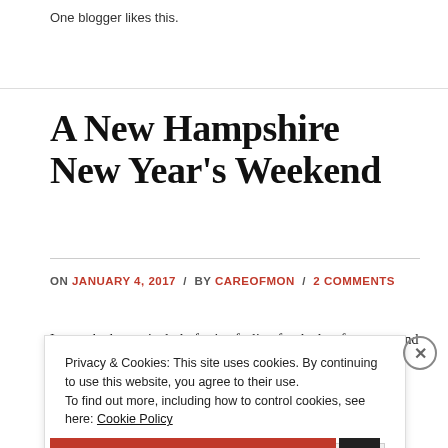One blogger likes this.
A New Hampshire New Year's Weekend
ON JANUARY 4, 2017 / BY CAREOFMON / 2 COMMENTS
Privacy & Cookies: This site uses cookies. By continuing to use this website, you agree to their use. To find out more, including how to control cookies, see here: Cookie Policy
Close and accept